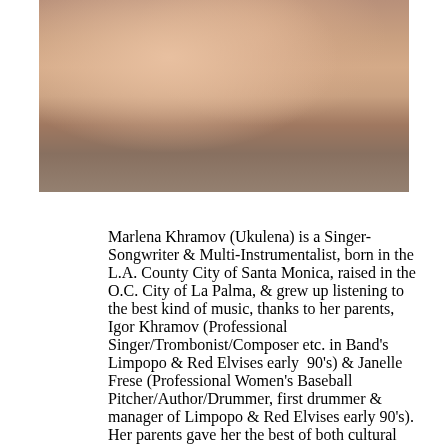[Figure (photo): A woman with pink hair holding a guitar neck, photographed from shoulders up against a muted background, artistic/professional music promotional photo]
Marlena Khramov (Ukulena) is a Singer-Songwriter & Multi-Instrumentalist, born in the L.A. County City of Santa Monica, raised in the O.C. City of La Palma, & grew up listening to the best kind of music, thanks to her parents, Igor Khramov (Professional Singer/Trombonist/Composer etc. in Band's Limpopo & Red Elvises early 90's) & Janelle Frese (Professional Women's Baseball Pitcher/Author/Drummer, first drummer & manager of Limpopo & Red Elvises early 90's). Her parents gave her the best of both cultural